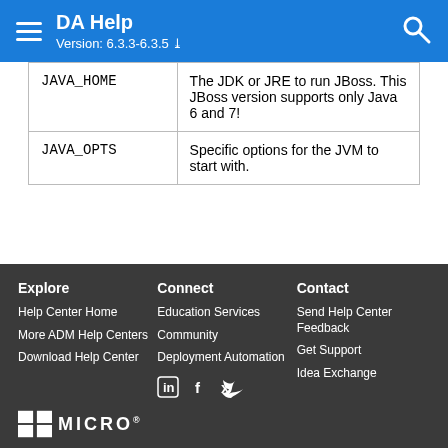DA Help Version: 6.3.3-6.3.5
| JAVA_HOME | The JDK or JRE to run JBoss. This JBoss version supports only Java 6 and 7! |
| JAVA_OPTS | Specific options for the JVM to start with. |
Explore: Help Center Home, More ADM Help Centers, Download Help Center | Connect: Education Services, Community, Deployment Automation | Contact: Send Help Center Feedback, Get Support, Idea Exchange
[Figure (logo): Micro Focus logo at bottom]